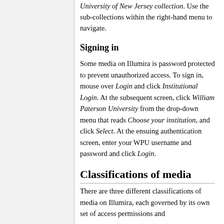University of New Jersey collection. Use the sub-collections within the right-hand menu to navigate.
Signing in
Some media on Illumira is password protected to prevent unauthorized access. To sign in, mouse over Login and click Institutional Login. At the subsequent screen, click William Paterson University from the drop-down menu that reads Choose your institution, and click Select. At the ensuing authentication screen, enter your WPU username and password and click Login.
Classifications of media
There are three different classifications of media on Illumira, each governed by its own set of access permissions and